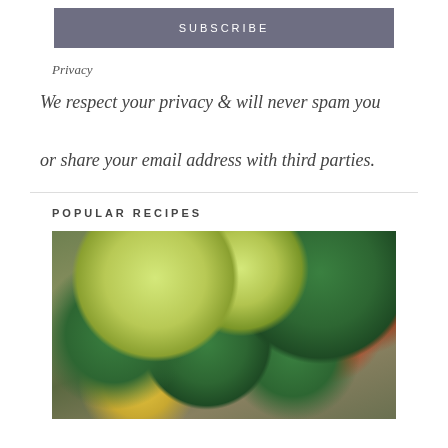SUBSCRIBE
Privacy
We respect your privacy & will never spam you or share your email address with third parties.
POPULAR RECIPES
[Figure (photo): Overhead photo of roasted vegetables including sliced yellow squash, zucchini, cherry tomatoes (orange and red), and other vegetables on a baking sheet]